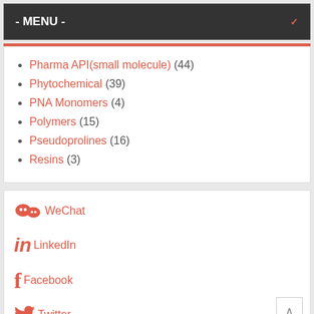- MENU -
Pharma API(small molecule) (44)
Phytochemical (39)
PNA Monomers (4)
Polymers (15)
Pseudoprolines (16)
Resins (3)
[Figure (illustration): WeChat social media icon with text 'WeChat']
[Figure (illustration): LinkedIn social media icon with text 'LinkedIn']
[Figure (illustration): Facebook social media icon with text 'Facebook']
[Figure (illustration): Twitter social media icon with text 'Twitter']